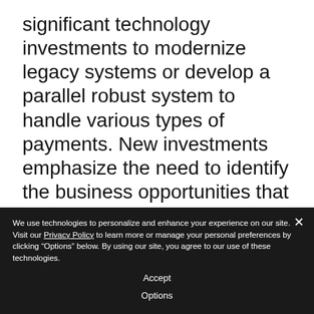significant technology investments to modernize legacy systems or develop a parallel robust system to handle various types of payments. New investments emphasize the need to identify the business opportunities that will deliver a positive ROI.
Fintechs are already playing a prominent
We use technologies to personalize and enhance your experience on our site. Visit our Privacy Policy to learn more or manage your personal preferences by clicking "Options" below. By using our site, you agree to our use of these technologies.
Accept
Options